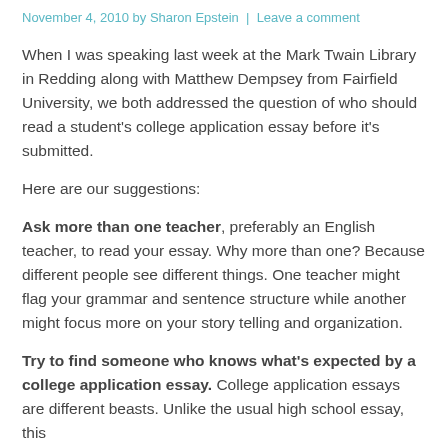November 4, 2010 by Sharon Epstein | Leave a comment
When I was speaking last week at the Mark Twain Library in Redding along with Matthew Dempsey from Fairfield University, we both addressed the question of who should read a student's college application essay before it's submitted.
Here are our suggestions:
Ask more than one teacher, preferably an English teacher, to read your essay. Why more than one? Because different people see different things. One teacher might flag your grammar and sentence structure while another might focus more on your story telling and organization.
Try to find someone who knows what's expected by a college application essay. College application essays are different beasts. Unlike the usual high school essay, this